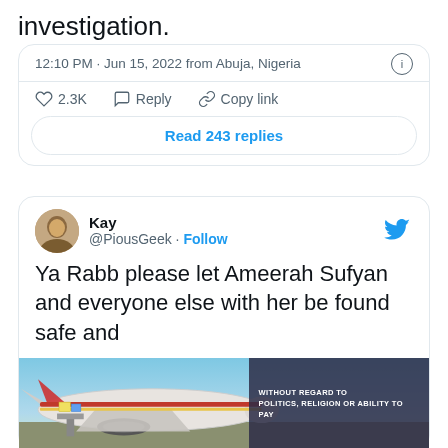investigation.
12:10 PM · Jun 15, 2022 from Abuja, Nigeria
2.3K  Reply  Copy link
Read 243 replies
Kay @PiousGeek · Follow
Ya Rabb please let Ameerah Sufyan and everyone else with her be found safe and
[Figure (screenshot): Advertisement banner showing an airplane being loaded with cargo, with text overlay: WITHOUT REGARD TO POLITICS, RELIGION OR ABILITY TO PAY]